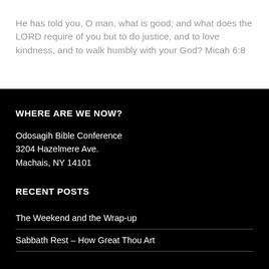He has told you, O man, what is good; and what does the LORD require of you but to do justice, and to love kindness, and to walk humbly with your God? Micah 6:8
WHERE ARE WE NOW?
Odosagih Bible Conference
3204 Hazelmere Ave.
Machais, NY 14101
RECENT POSTS
The Weekend and the Wrap-up
Sabbath Rest – How Great Thou Art